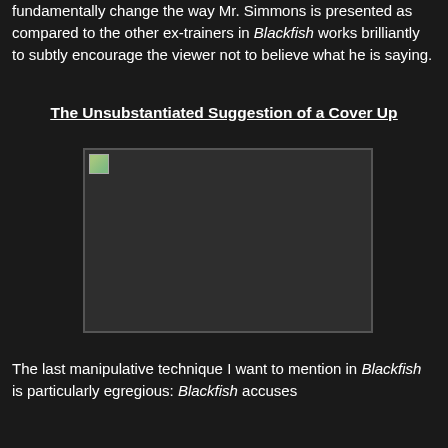fundamentally change the way Mr. Simmons is presented as compared to the other ex-trainers in Blackfish works brilliantly to subtly encourage the viewer not to believe what he is saying.
The Unsubstantiated Suggestion of a Cover Up
[Figure (photo): A broken/missing image placeholder shown as a dark rectangle with a small broken image icon in the top-left corner, bordered by a lighter frame.]
The last manipulative technique I want to mention in Blackfish is particularly egregious: Blackfish accuses